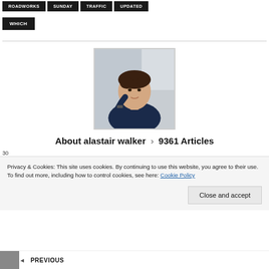ROADWORKS
SUNDAY
TRAFFIC
UPDATED
WHICH
[Figure (photo): Portrait photo of Alastair Walker, a middle-aged man with dark hair, leaning his head on his hand, smiling, wearing a dark blue sweater and watch]
About alastair walker › 9361 Articles
30... (partial line obscured)
Privacy & Cookies: This site uses cookies. By continuing to use this website, you agree to their use.
To find out more, including how to control cookies, see here: Cookie Policy
Close and accept